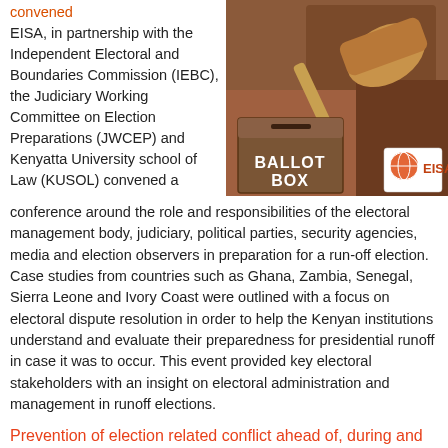convened EISA, in partnership with the Independent Electoral and Boundaries Commission (IEBC), the Judiciary Working Committee on Election Preparations (JWCEP) and Kenyatta University school of Law (KUSOL) convened a conference around the role and responsibilities of the electoral management body, judiciary, political parties, security agencies, media and election observers in preparation for a run-off election. Case studies from countries such as Ghana, Zambia, Senegal, Sierra Leone and Ivory Coast were outlined with a focus on electoral dispute resolution in order to help the Kenyan institutions understand and evaluate their preparedness for presidential runoff in case it was to occur. This event provided key electoral stakeholders with an insight on electoral administration and management in runoff elections.
[Figure (photo): Photo of a ballot box, judge's gavel and law books with EISA logo overlay]
Prevention of election related conflict ahead of, during and after elections
EISA, in partnership with the Institute for Defense Analysis (IDA),